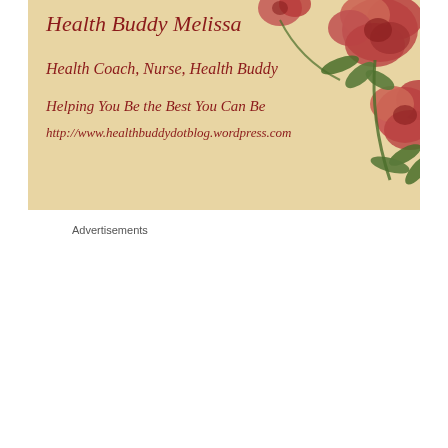[Figure (illustration): Vintage-style banner with red roses on a warm beige/parchment background. Text in dark red italic/script font reads: 'Health Buddy Melissa', 'Health Coach, Nurse, Health Buddy', 'Helping You Be the Best You Can Be', 'http://www.healthbuddydotblog.wordpress.com']
Advertisements
[Figure (other): Automattic advertisement on blue background. Contains the text 'AUTOMATTIC' as logo/brand name, 'Love working again.' as headline, and an 'Apply' button.]